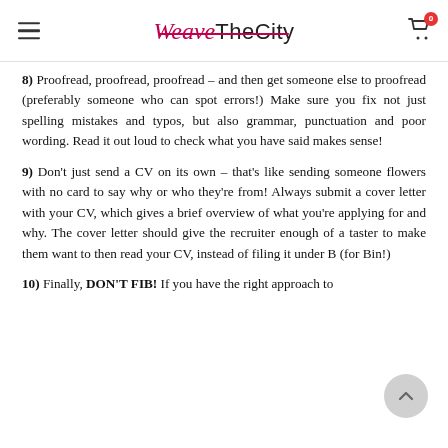WeareTheCity
8) Proofread, proofread, proofread – and then get someone else to proofread (preferably someone who can spot errors!) Make sure you fix not just spelling mistakes and typos, but also grammar, punctuation and poor wording. Read it out loud to check what you have said makes sense!
9) Don't just send a CV on its own – that's like sending someone flowers with no card to say why or who they're from! Always submit a cover letter with your CV, which gives a brief overview of what you're applying for and why. The cover letter should give the recruiter enough of a taster to make them want to then read your CV, instead of filing it under B (for Bin!)
10) Finally, DON'T FIB! If you have the right approach to